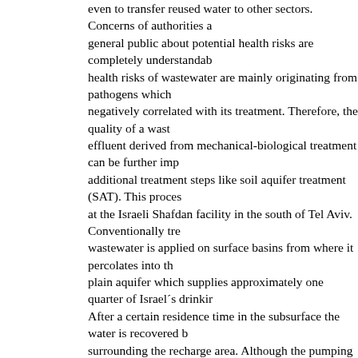even to transfer reused water to other sectors. Concerns of authorities and the general public about potential health risks are completely understandable. The health risks of wastewater are mainly originating from pathogens which are negatively correlated with its treatment. Therefore, the quality of a wastewater effluent derived from mechanical-biological treatment can be further improved by additional treatment steps like soil aquifer treatment (SAT). This process is used at the Israeli Shafdan facility in the south of Tel Aviv. Conventionally treated wastewater is applied on surface basins from where it percolates into the coastal plain aquifer which supplies approximately one quarter of Israel´s drinking water. After a certain residence time in the subsurface the water is recovered by wells surrounding the recharge area. Although the pumping regime creates a hydraulic barrier to the pristine groundwater, concerns exist that a contamination of surrounding drinking water wells could occur. So far, little is known about the removal of organic trace pollutants during the SAT process in general and at the Shafdan site in particular. Consequently, the need arose to study the purification power of the SAT process in terms of the removal of organic trace pollutants. For this purpose reliable wastewater tracers are essential to be able to differentiate between degradation and sorption processes on the one hand and dilution with pristine groundwater on the other hand. Based on their chemical properties, worldwide usage in a variety of foodstuffs and beverages, and first data on the fate and occurrence of sucralose, artificial sweeteners came into the focus as promising tracer candidates.
Thus, in the present work an analytical method for the simultaneous determination of seven commonly used artificial sweeteners in different water matrices, including surface water and wastewater, was developed (see chapter 2). The method is based on the solid phase extraction (SPE) of the analytes by a styrene divinyl...